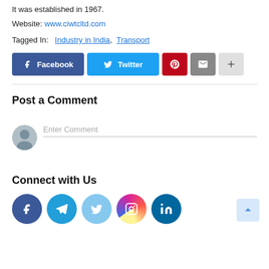It was established in 1967.
Website: www.ciwtcltd.com
Tagged In: Industry in India, Transport
[Figure (infographic): Share buttons row: Facebook (dark blue), Twitter (light blue), Pinterest (red), Email (gray), More (light gray plus sign)]
Post a Comment
[Figure (infographic): Comment input area with user avatar and Enter Comment placeholder text]
Connect with Us
[Figure (infographic): Social media circle icons row: Facebook (dark blue), Telegram (blue), Twitter (light blue), Instagram (gradient), LinkedIn (dark teal)]